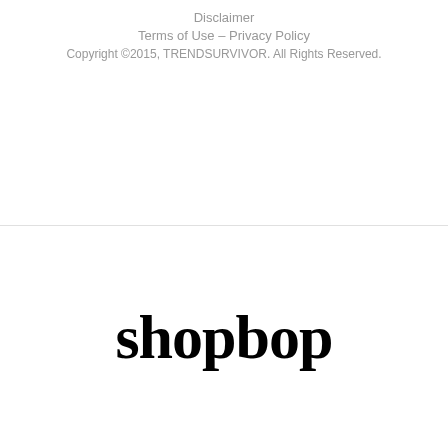Disclaimer
Terms of Use – Privacy Policy
Copyright ©2015, TRENDSURVIVOR. All Rights Reserved.
[Figure (logo): Shopbop logo in large bold serif font]